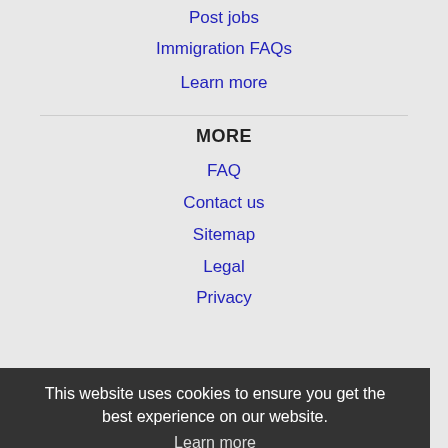Post jobs
Immigration FAQs
Learn more
MORE
FAQ
Contact us
Sitemap
Legal
Privacy
This website uses cookies to ensure you get the best experience on our website.
Learn more
NEARBY CITIES
Allentown, PA Jobs
Bayonne, NJ Jobs
Got it!
Bethlehem, PA Jobs
Bloomfield, NJ Jobs
Brentwood, NY Jobs